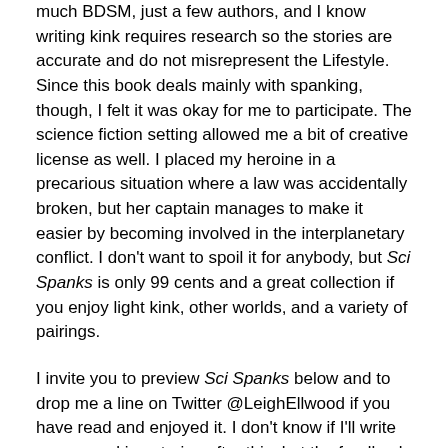much BDSM, just a few authors, and I know writing kink requires research so the stories are accurate and do not misrepresent the Lifestyle. Since this book deals mainly with spanking, though, I felt it was okay for me to participate. The science fiction setting allowed me a bit of creative license as well. I placed my heroine in a precarious situation where a law was accidentally broken, but her captain manages to make it easier by becoming involved in the interplanetary conflict. I don't want to spoil it for anybody, but Sci Spanks is only 99 cents and a great collection if you enjoy light kink, other worlds, and a variety of pairings.
I invite you to preview Sci Spanks below and to drop me a line on Twitter @LeighEllwood if you have read and enjoyed it. I don't know if I'll write more spanking stories after this, but the feedback is good I never say never.